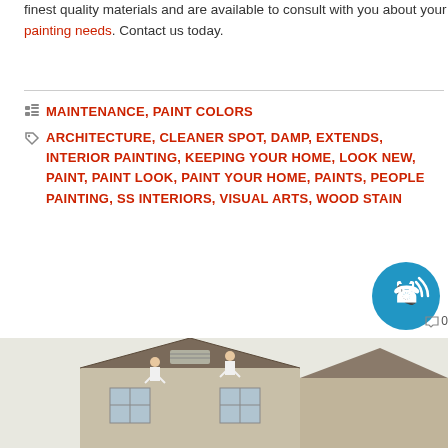finest quality materials and are available to consult with you about your painting needs. Contact us today.
MAINTENANCE, PAINT COLORS
ARCHITECTURE, CLEANER SPOT, DAMP, EXTENDS, INTERIOR PAINTING, KEEPING YOUR HOME, LOOK NEW, PAINT, PAINT LOOK, PAINT YOUR HOME, PAINTS, PEOPLE PAINTING, SS INTERIORS, VISUAL ARTS, WOOD STAIN
[Figure (photo): Photo of painters working on the exterior of a house, on the roof/upper walls, with a gabled roof visible.]